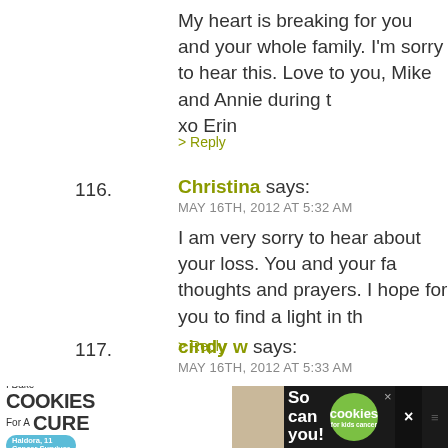My heart is breaking for you and your whole family. I'm sorry to hear this. Love to you, Mike and Annie during t… xo Erin
> Reply
116. Christina says: MAY 16TH, 2012 AT 5:32 AM
I am very sorry to hear about your loss. You and your fa… thoughts and prayers. I hope for you to find a light in th…
> Reply
117. cindy w says: MAY 16TH, 2012 AT 5:33 AM
Oh god. I'm just so, so damn sorry.
> Reply
118. Mommy Boots says:
[Figure (advertisement): Advertisement banner: I Bake COOKIES For A CURE with Haldora, 11 Cancer Survivor image and 'So can you! cookies for kids cancer' branding]